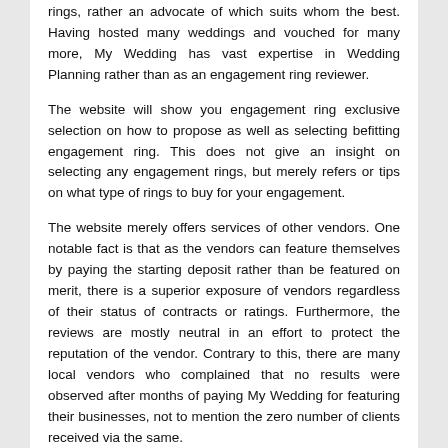rings, rather an advocate of which suits whom the best. Having hosted many weddings and vouched for many more, My Wedding has vast expertise in Wedding Planning rather than as an engagement ring reviewer.
The website will show you engagement ring exclusive selection on how to propose as well as selecting befitting engagement ring. This does not give an insight on selecting any engagement rings, but merely refers or tips on what type of rings to buy for your engagement.
The website merely offers services of other vendors. One notable fact is that as the vendors can feature themselves by paying the starting deposit rather than be featured on merit, there is a superior exposure of vendors regardless of their status of contracts or ratings. Furthermore, the reviews are mostly neutral in an effort to protect the reputation of the vendor. Contrary to this, there are many local vendors who complained that no results were observed after months of paying My Wedding for featuring their businesses, not to mention the zero number of clients received via the same.
Do not waste your time on My Wedding if you're looking for one wedding planner with the caterer to the honeymoon tickets within one contract. My Wedding provides details of the local...